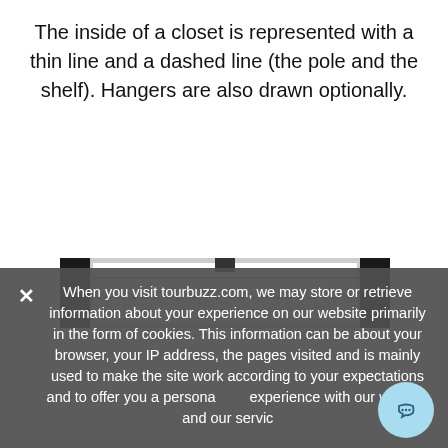The inside of a closet is represented with a thin line and a dashed line (the pole and the shelf). Hangers are also drawn optionally.
[Figure (schematic): Floor plan diagram of a closet showing thick black walls on left and right ends, a rectangular interior space, a thin horizontal line (pole) and a dashed horizontal line (shelf) inside.]
✕ When you visit tourbuzz.com, we may store or retrieve information about your experience on our website primarily in the form of cookies. This information can be about your browser, your IP address, the pages visited and is mainly used to make the site work according to your expectations and to offer you a personalized experience with our website and our services.